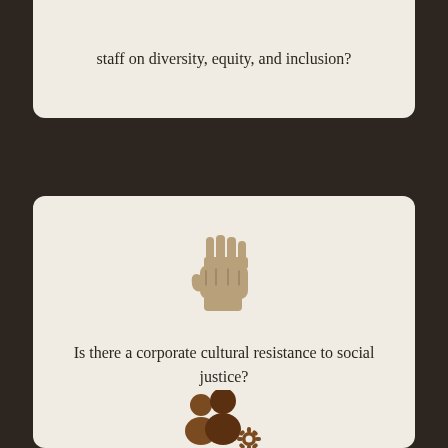staff on diversity, equity, and inclusion?
[Figure (illustration): A raised fist icon in tan/beige color representing solidarity or resistance]
Is there a corporate cultural resistance to social justice?
[Figure (illustration): A group of people with a settings/gear icon in brown color representing workforce management or HR]